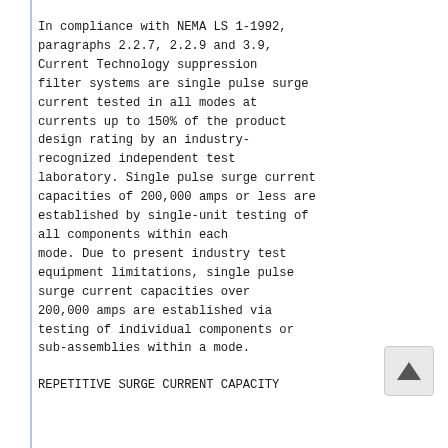In compliance with NEMA LS 1-1992, paragraphs 2.2.7, 2.2.9 and 3.9, Current Technology suppression filter systems are single pulse surge current tested in all modes at currents up to 150% of the product design rating by an industry-recognized independent test laboratory. Single pulse surge current capacities of 200,000 amps or less are established by single-unit testing of all components within each mode. Due to present industry test equipment limitations, single pulse surge current capacities over 200,000 amps are established via testing of individual components or sub-assemblies within a mode.
REPETITIVE SURGE CURRENT CAPACITY